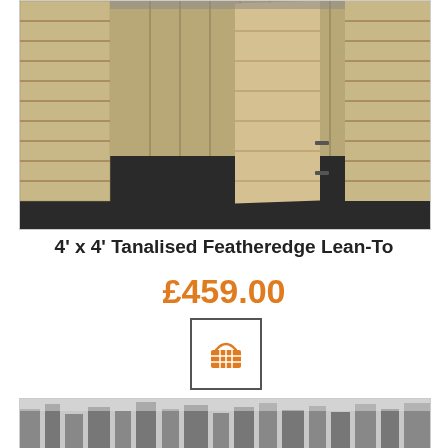[Figure (photo): Photo of a 4'x4' Tanalised Featheredge Lean-To wooden shed with open door, shown on a dark floor background]
4' x 4' Tanalised Featheredge Lean-To
£459.00
[Figure (other): Shopping basket/cart icon button with border]
[Figure (photo): Partial photo of another product (wooden structure) with trees visible in background, cropped at bottom of page]